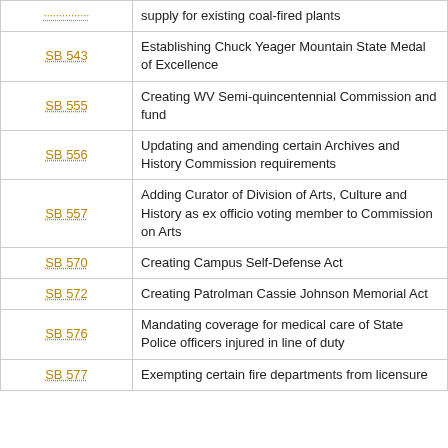| Bill | Description |
| --- | --- |
| ... | supply for existing coal-fired plants |
| SB 543 | Establishing Chuck Yeager Mountain State Medal of Excellence |
| SB 555 | Creating WV Semi-quincentennial Commission and fund |
| SB 556 | Updating and amending certain Archives and History Commission requirements |
| SB 557 | Adding Curator of Division of Arts, Culture and History as ex officio voting member to Commission on Arts |
| SB 570 | Creating Campus Self-Defense Act |
| SB 572 | Creating Patrolman Cassie Johnson Memorial Act |
| SB 576 | Mandating coverage for medical care of State Police officers injured in line of duty |
| SB 577 | Exempting certain fire departments from licensure |